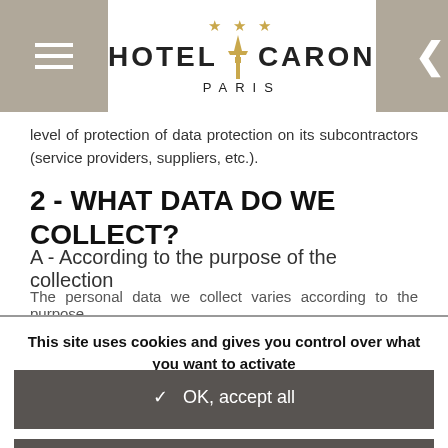Hotel Caron Paris — navigation header with menu and back button
level of protection of data protection on its subcontractors (service providers, suppliers, etc.).
2 - WHAT DATA DO WE COLLECT?
A - According to the purpose of the collection
The personal data we collect varies according to the purpose
This site uses cookies and gives you control over what you want to activate
✓  OK, accept all
✗  Deny all cookies
Personalize